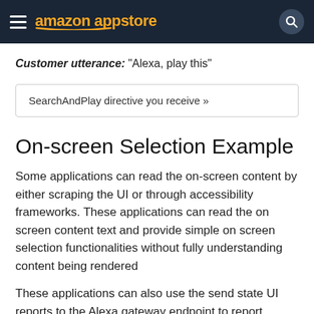amazon appstore
Customer utterance: "Alexa, play this"
SearchAndPlay directive you receive »
On-screen Selection Example
Some applications can read the on-screen content by either scraping the UI or through accessibility frameworks. These applications can read the on screen content text and provide simple on screen selection functionalities without fully understanding content being rendered
These applications can also use the send state UI reports to the Alexa gateway endpoint to report